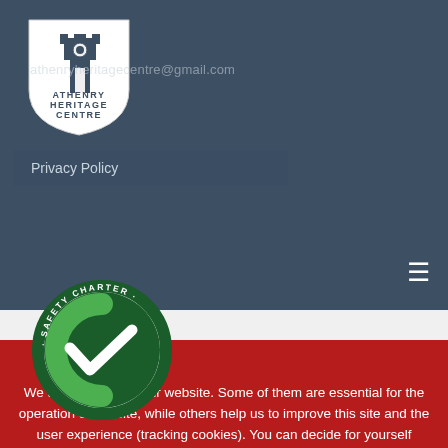[Figure (logo): Athenry Heritage Centre logo — shield with tower, text 'ATHENRY HERITAGE CENTRE']
athenryheritagecentre@gmail.com
Privacy Policy
[Figure (logo): Safety Charter badge — green circular badge with checkmark]
We use cookies on our website. Some of them are essential for the operation of the site, while others help us to improve this site and the user experience (tracking cookies). You can decide for yourself whether you want to allow cookies or not. Please note that if you reject them, you may not be able to use all the functionalities of the site.
Ok
Decline